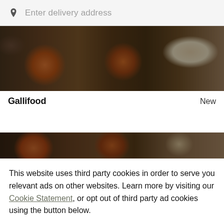[Figure (screenshot): Search bar with location pin icon and placeholder text 'Enter delivery address' on a light gray background]
[Figure (photo): Overhead photo of food dishes — Indian food bowls with curries on a dark background]
Gallifood	New
[Figure (photo): Partial overhead photo of food dishes, partially visible, dark toned]
This website uses third party cookies in order to serve you relevant ads on other websites. Learn more by visiting our Cookie Statement, or opt out of third party ad cookies using the button below.
OPT OUT
GOT IT